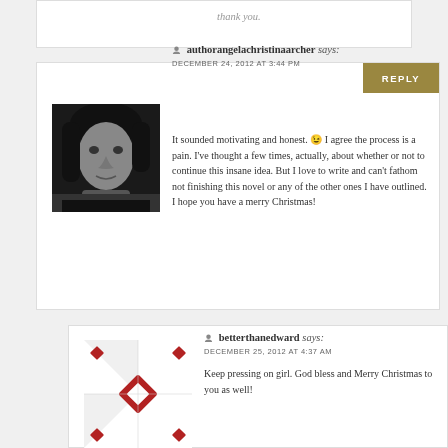thank you.
authorangelachristinaarcher says:
DECEMBER 24, 2012 AT 3:44 PM
It sounded motivating and honest. 😉 I agree the process is a pain. I've thought a few times, actually, about whether or not to continue this insane idea. But I love to write and can't fathom not finishing this novel or any of the other ones I have outlined. I hope you have a merry Christmas!
betterthanedward says:
DECEMBER 25, 2012 AT 4:37 AM
Keep pressing on girl. God bless and Merry Christmas to you as well!